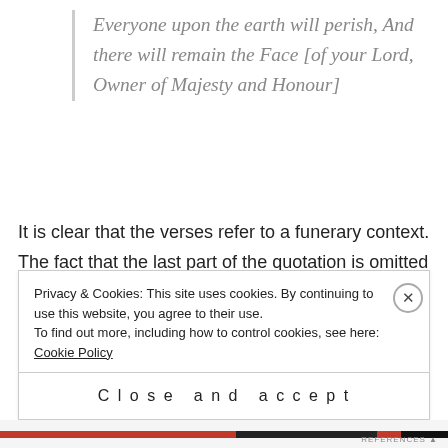Everyone upon the earth will perish, And there will remain the Face [of your Lord, Owner of Majesty and Honour]
It is clear that the verses refer to a funerary context. The fact that the last part of the quotation is omitted does not mean that the quotation continued on adjacent tiles: the fact that the words at the right of the band are arranged to fit and fill the space, would mean that the quotation was finished. Also, elsewhere it was made clear that a pious Muslim can recognise the
Privacy & Cookies: This site uses cookies. By continuing to use this website, you agree to their use.
To find out more, including how to control cookies, see here: Cookie Policy
Close and accept